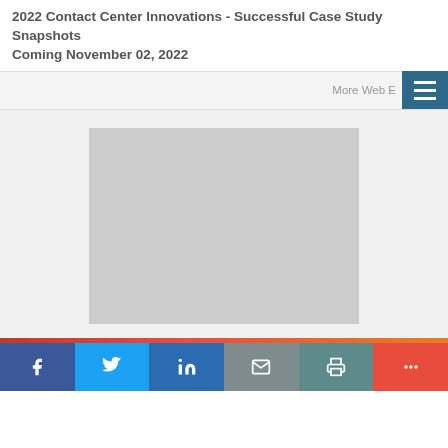2022 Contact Center Innovations - Successful Case Study Snapshots Coming November 02, 2022
More Web E...
[Figure (screenshot): Large gray placeholder image representing a video or content thumbnail]
[Figure (infographic): Social share bar with Facebook, Twitter, LinkedIn, Email, Print, and More buttons]